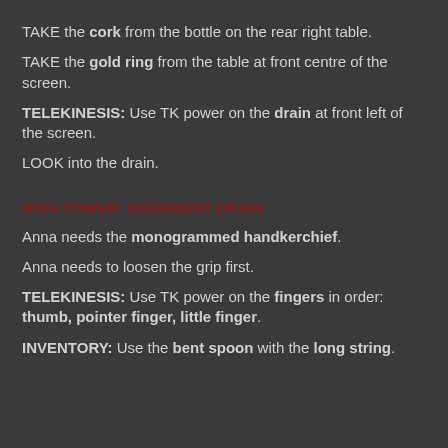TAKE the cork from the bottle on the rear right table.
TAKE the gold ring from the table at front centre of the screen.
TELEKINESIS: Use TK power on the drain at front left of the screen.
LOOK into the drain.
HIGH TOWER: BASEMENT DRAIN
Anna needs the monogrammed handkerchief.
Anna needs to loosen the grip first.
TELEKINESIS: Use TK power on the fingers in order: thumb, pointer finger, little finger.
INVENTORY: Use the bent spoon with the long string.